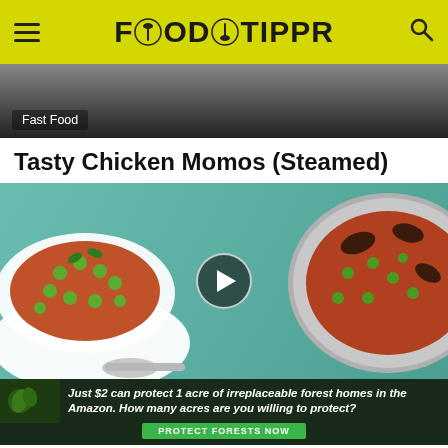FOODTIPPR
[Figure (photo): Dark top image strip showing cooking pan, with 'Fast Food' category badge]
Tasty Chicken Momos (Steamed)
[Figure (photo): Food photo showing a dish with peas and minced meat on teal wooden surface, with a cooking pot on the right. A play button overlay is in the center.]
Just $2 can protect 1 acre of irreplaceable forest homes in the Amazon. How many acres are you willing to protect? PROTECT FORESTS NOW